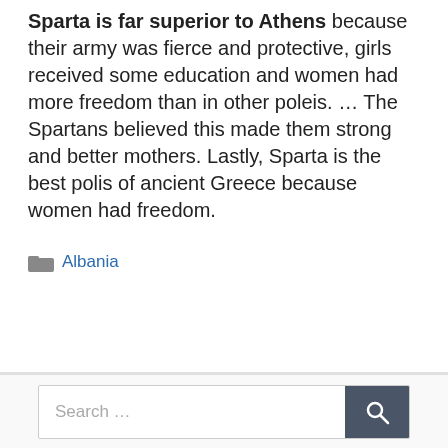Sparta is far superior to Athens because their army was fierce and protective, girls received some education and women had more freedom than in other poleis. … The Spartans believed this made them strong and better mothers. Lastly, Sparta is the best polis of ancient Greece because women had freedom.
Categories: Albania